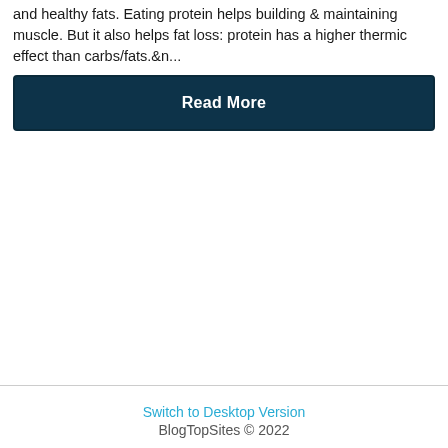and healthy fats. Eating protein helps building & maintaining muscle. But it also helps fat loss: protein has a higher thermic effect than carbs/fats.&n...
Read More
Switch to Desktop Version
BlogTopSites © 2022